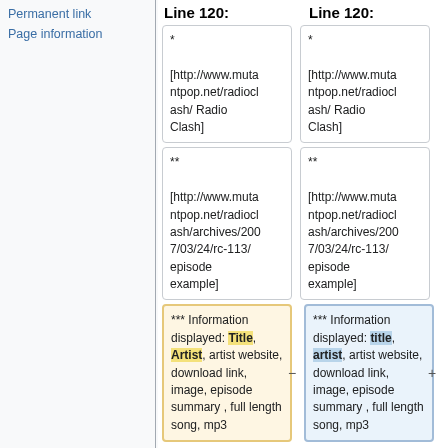Permanent link
Page information
Line 120:
Line 120:
* [http://www.mutantpop.net/radioclash/ Radio Clash]
* [http://www.mutantpop.net/radioclash/ Radio Clash]
** [http://www.mutantpop.net/radioclash/archives/2007/03/24/rc-113/episode example]
** [http://www.mutantpop.net/radioclash/archives/2007/03/24/rc-113/episode example]
*** Information displayed: Title, Artist, artist website, download link, image, episode summary , full length song, mp3
*** Information displayed: title, artist, artist website, download link, image, episode summary , full length song, mp3